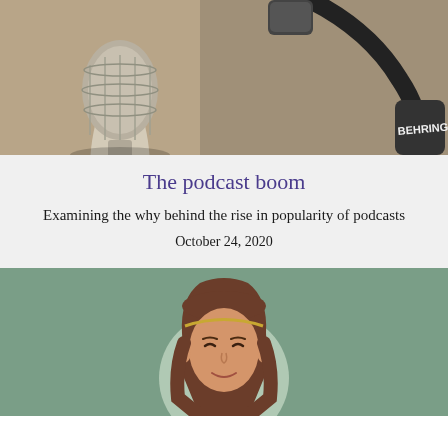[Figure (photo): Close-up photo of a silver studio microphone with a black Behringer headphone in the background on a beige/warm surface]
The podcast boom
Examining the why behind the rise in popularity of podcasts
October 24, 2020
[Figure (illustration): Illustrated cartoon-style portrait of a woman with brown hair on a sage green background with a light circular halo/glow behind her head]